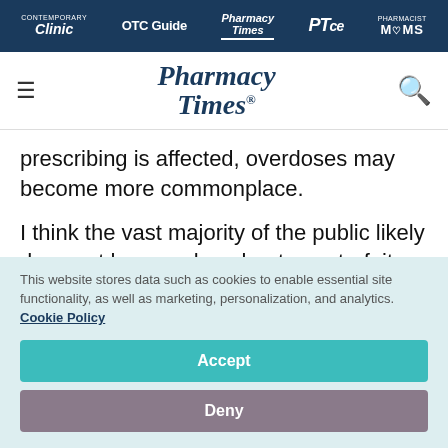Clinic | OTC Guide | Pharmacy Times | PTce | Pharmacist MOMS
[Figure (logo): Pharmacy Times logo with hamburger menu and search icon]
prescribing is affected, overdoses may become more commonplace.
I think the vast majority of the public likely does not have a clue about counterfeit prescription
This website stores data such as cookies to enable essential site functionality, as well as marketing, personalization, and analytics. Cookie Policy
Accept
Deny